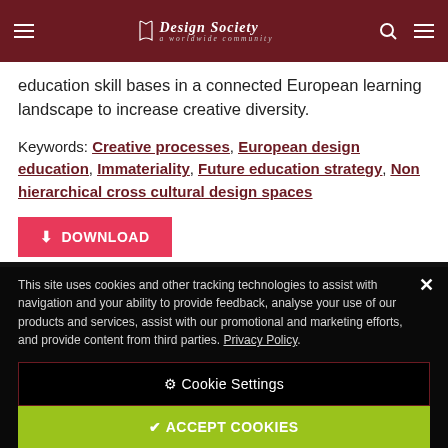The Design Society — worldwide community
education skill bases in a connected European learning landscape to increase creative diversity.
Keywords: Creative processes, European design education, Immateriality, Future education strategy, Non hierarchical cross cultural design spaces
[Figure (other): Red DOWNLOAD button with download arrow icon]
This site uses cookies and other tracking technologies to assist with navigation and your ability to provide feedback, analyse your use of our products and services, assist with our promotional and marketing efforts, and provide content from third parties. Privacy Policy.
⚙ Cookie Settings
✔ ACCEPT COOKIES